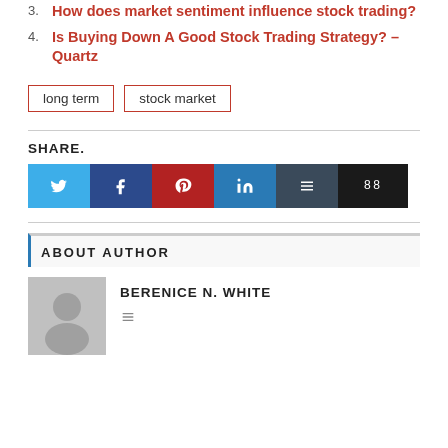3. How does market sentiment influence stock trading?
4. Is Buying Down A Good Stock Trading Strategy? – Quartz
long term   stock market
SHARE.
ABOUT AUTHOR
BERENICE N. WHITE